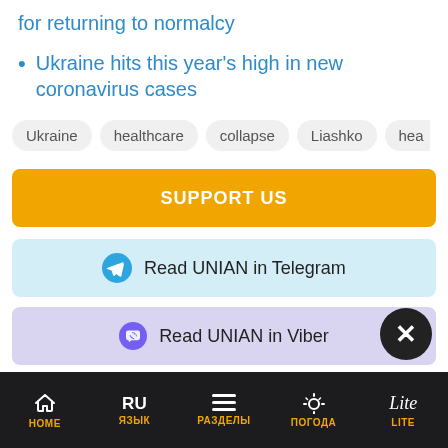for returning to normalcy
Ukraine hits this year's high in new coronavirus cases
Ukraine  healthcare  collapse  Liashko  hea
SUPPORT US
Read UNIAN in Telegram
Read UNIAN in Viber
HOME  RU ЯЗЫК  РАЗДЕЛЫ  ПОГОДА  LITE